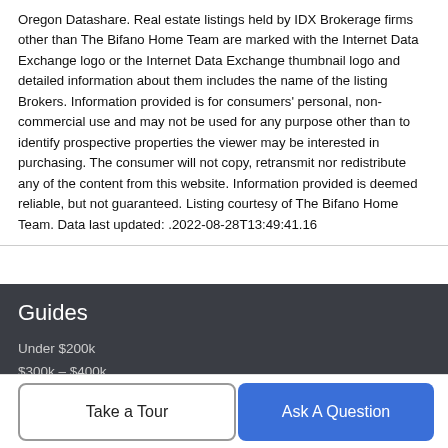Oregon Datashare. Real estate listings held by IDX Brokerage firms other than The Bifano Home Team are marked with the Internet Data Exchange logo or the Internet Data Exchange thumbnail logo and detailed information about them includes the name of the listing Brokers. Information provided is for consumers' personal, non-commercial use and may not be used for any purpose other than to identify prospective properties the viewer may be interested in purchasing. The consumer will not copy, retransmit nor redistribute any of the content from this website. Information provided is deemed reliable, but not guaranteed. Listing courtesy of The Bifano Home Team. Data last updated: .2022-08-28T13:49:41.16
Guides
Under $200k
$300k – $400k
$400k – $500k
Take a Tour
Ask A Question